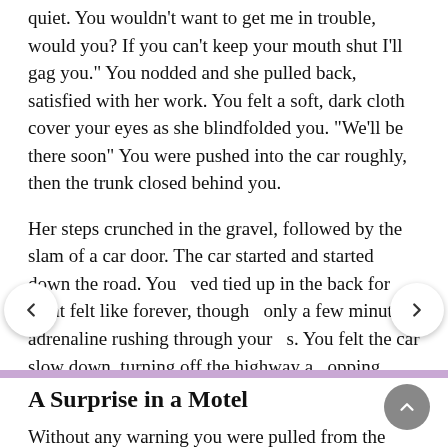quiet. You wouldn't want to get me in trouble, would you? If you can't keep your mouth shut I'll gag you." You nodded and she pulled back, satisfied with her work. You felt a soft, dark cloth cover your eyes as she blindfolded you. "We'll be there soon" You were pushed into the car roughly, then the trunk closed behind you.

Her steps crunched in the gravel, followed by the slam of a car door. The car started and started down the road. You ved tied up in the back for what felt like forever, though only a few minutes, adrenaline rushing through your s. You felt the car slow down, turning off the highway a opping shortly after.
A Surprise in a Motel
Without any warning you were pulled from the trunk and set on your feet, stumbling as you tried to balance yourself. A hand rested on the small of your back "Walk." You shivered and stepped tentatively forward as she guided you. You heard the sound of a card being pushed into a door handle and the click of the lock as it opened. You were shoved into the room